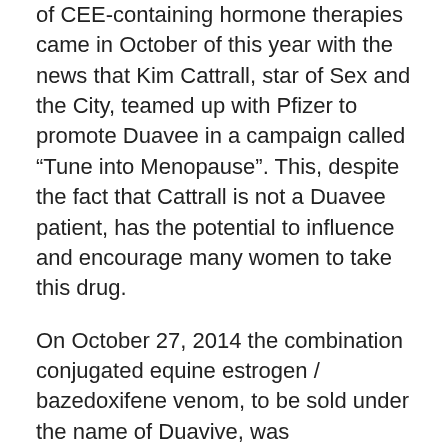of CEE-containing hormone therapies came in October of this year with the news that Kim Cattrall, star of Sex and the City, teamed up with Pfizer to promote Duavee in a campaign called “Tune into Menopause”. This, despite the fact that Cattrall is not a Duavee patient, has the potential to influence and encourage many women to take this drug.
On October 27, 2014 the combination conjugated equine estrogen / bazedoxifene venom, to be sold under the name of Duavive, was recommended for approval by the European Medicines Agency (EMA) so it is only a matter of time before it is available in Europe.
After the launch of Duavee in the first quarter of the year Pfizer reports that the sales of their combo drug have grown to more than 5,000 prescriptions per month. Sales projection for 2014 is approximately 100 million USD, estimated to double by the year 2020. S...